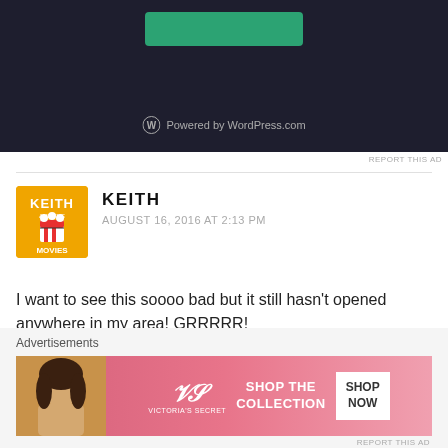[Figure (screenshot): WordPress.com advertisement banner with dark background, teal button at top, and 'Powered by WordPress.com' text with WordPress logo at bottom]
REPORT THIS AD
KEITH
AUGUST 16, 2016 AT 2:13 PM
I want to see this soooo bad but it still hasn't opened anywhere in my area! GRRRRR!
Loading...
Reply
Advertisements
[Figure (screenshot): Victoria's Secret advertisement banner with pink background showing a woman, VS logo, 'SHOP THE COLLECTION' text, and 'SHOP NOW' button]
REPORT THIS AD